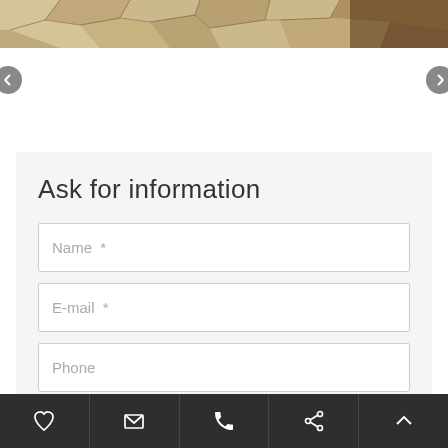[Figure (photo): Top portion of a cracked earth / stone texture photo, brownish-beige tones with dark shadows]
Ask for information
Name *
E-mail *
Phone
Query *
[Figure (other): Bottom dark toolbar with five icons: heart, envelope, phone, share, and up-arrow chevron]